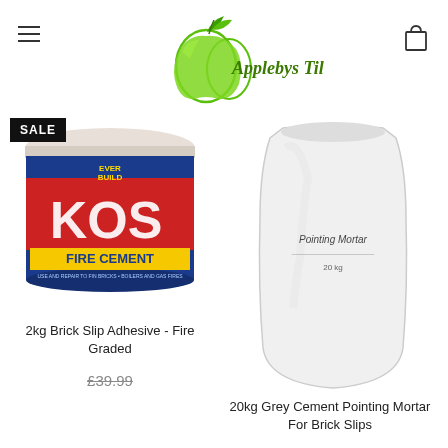[Figure (logo): Applebys Tiles logo — green apple with leaves and cursive text]
[Figure (photo): Everbuild KOS Fire Cement 2kg tub with blue, red and white label, white lid, sale badge in top left]
2kg Brick Slip Adhesive - Fire Graded
£39.99
[Figure (photo): White bag of Pointing Mortar 20kg for brick slips]
20kg Grey Cement Pointing Mortar For Brick Slips